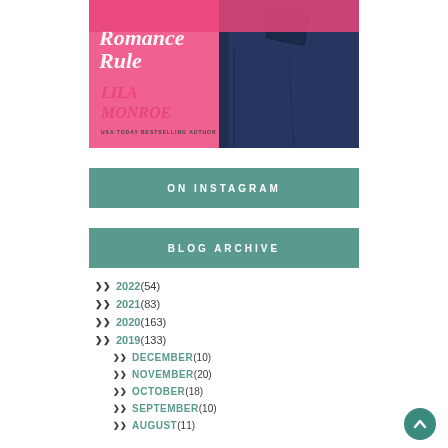[Figure (illustration): Book cover of a romance novel by Lila Monroe, showing jeans and pink background with author name and 'USA TODAY BESTSELLING AUTHOR' tagline]
ON INSTAGRAM
BLOG ARCHIVE
2022 (54)
2021 (83)
2020 (163)
2019 (133)
DECEMBER (10)
NOVEMBER (20)
OCTOBER (18)
SEPTEMBER (10)
AUGUST (11)